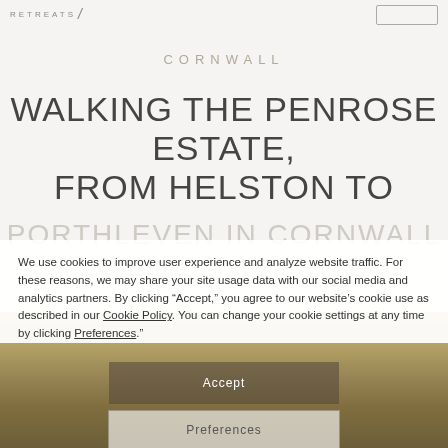RETREATS /
CORNWALL
WALKING THE PENROSE ESTATE, FROM HELSTON TO
PORTHLEVEN IN CORNWALL
We use cookies to improve user experience and analyze website traffic. For these reasons, we may share your site usage data with our social media and analytics partners. By clicking “Accept,” you agree to our website’s cookie use as described in our Cookie Policy. You can change your cookie settings at any time by clicking “Preferences.”
Accept
Preferences